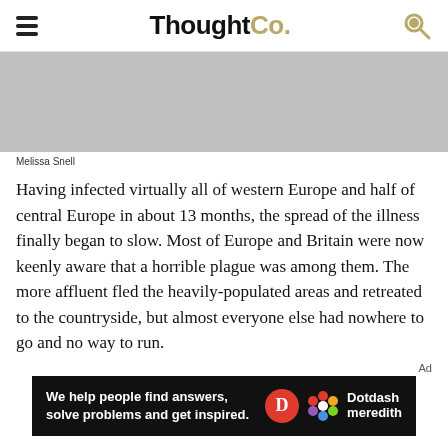ThoughtCo.
[Figure (photo): Gray placeholder image area]
Melissa Snell
Having infected virtually all of western Europe and half of central Europe in about 13 months, the spread of the illness finally began to slow. Most of Europe and Britain were now keenly aware that a horrible plague was among them. The more affluent fled the heavily-populated areas and retreated to the countryside, but almost everyone else had nowhere to go and no way to run.
Ad
[Figure (other): Dotdash Meredith advertisement banner: 'We help people find answers, solve problems and get inspired.' with Dotdash Meredith logo]